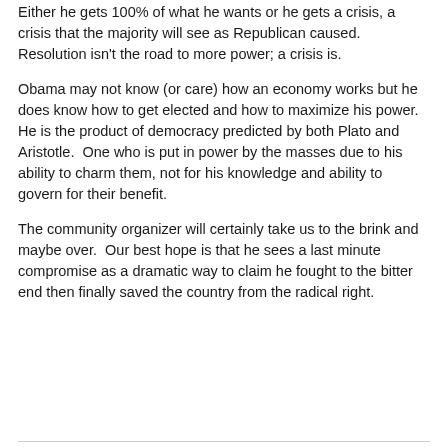Either he gets 100% of what he wants or he gets a crisis, a crisis that the majority will see as Republican caused. Resolution isn't the road to more power; a crisis is.
Obama may not know (or care) how an economy works but he does know how to get elected and how to maximize his power.  He is the product of democracy predicted by both Plato and Aristotle.  One who is put in power by the masses due to his ability to charm them, not for his knowledge and ability to govern for their benefit.
The community organizer will certainly take us to the brink and maybe over.  Our best hope is that he sees a last minute compromise as a dramatic way to claim he fought to the bitter end then finally saved the country from the radical right.